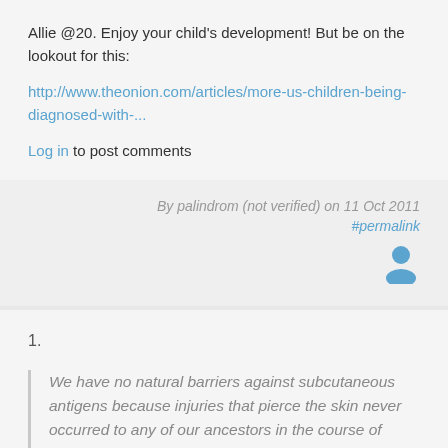Allie @20. Enjoy your child's development! But be on the lookout for this:
http://www.theonion.com/articles/more-us-children-being-diagnosed-with-...
Log in to post comments
By palindrom (not verified) on 11 Oct 2011
#permalink
1.
We have no natural barriers against subcutaneous antigens because injuries that pierce the skin never occurred to any of our ancestors in the course of evolution.